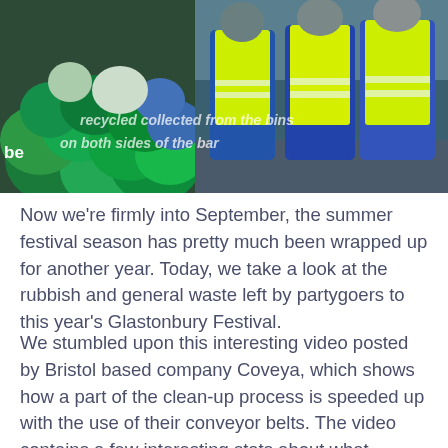[Figure (photo): Workers in high-visibility yellow vests standing near large bags of green and coloured recyclable materials, likely at a festival clean-up site. Watermark text overlay reads lines about recycling collected from the bins and on both sides of the bar.]
Now we're firmly into September, the summer festival season has pretty much been wrapped up for another year. Today, we take a look at the rubbish and general waste left by partygoers to this year's Glastonbury Festival.
We stumbled upon this interesting video posted by Bristol based company Coveya, which shows how a part of the clean-up process is speeded up with the use of their conveyor belts. The video contains a few interesting stats about what happens once all the party goers have left the festival to return to their daily lives.